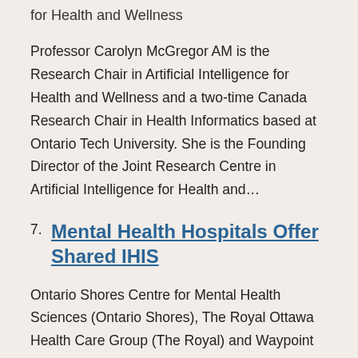for Health and Wellness
Professor Carolyn McGregor AM is the Research Chair in Artificial Intelligence for Health and Wellness and a two-time Canada Research Chair in Health Informatics based at Ontario Tech University. She is the Founding Director of the Joint Research Centre in Artificial Intelligence for Health and…
7. Mental Health Hospitals Offer Shared IHIS
Ontario Shores Centre for Mental Health Sciences (Ontario Shores), The Royal Ottawa Health Care Group (The Royal) and Waypoint Centre for Mental Health Care (Waypoint) have implemented a unified and upgraded